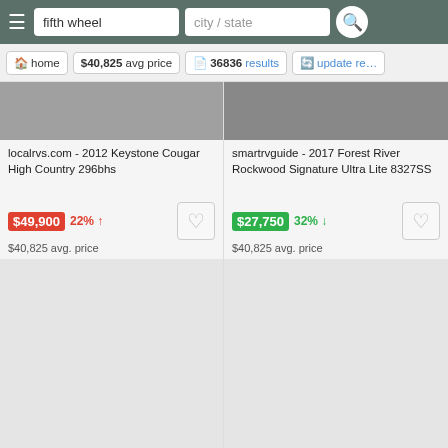[Figure (screenshot): Mobile app navigation bar with hamburger menu, search field showing 'fifth wheel', location field showing 'city / state', and search button]
home | $40,825 avg price | 36836 results | update results
localrvs.com - 2012 Keystone Cougar High Country 296bhs
$49,900  22% ↑  $40,825 avg. price
smartrvguide - 2017 Forest River Rockwood Signature Ultra Lite 8327SS
$27,750  32% ↓  $40,825 avg. price
localrvs.com - 2006 Jayco M
rvusa.com - 2013 Heartland
Refine results  fifth wheel trailers  fifth wheel hitch  fifth w